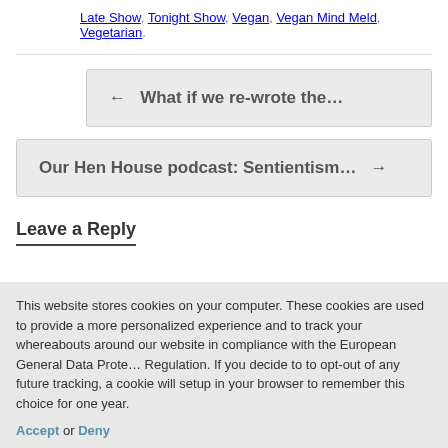Late Show, Tonight Show, Vegan, Vegan Mind Meld, Vegetarian.
← What if we re-wrote the…
Our Hen House podcast: Sentientism… →
Leave a Reply
This website stores cookies on your computer. These cookies are used to provide a more personalized experience and to track your whereabouts around our website in compliance with the European General Data Protection Regulation. If you decide to to opt-out of any future tracking, a cookie will be setup in your browser to remember this choice for one year.
Accept or Deny